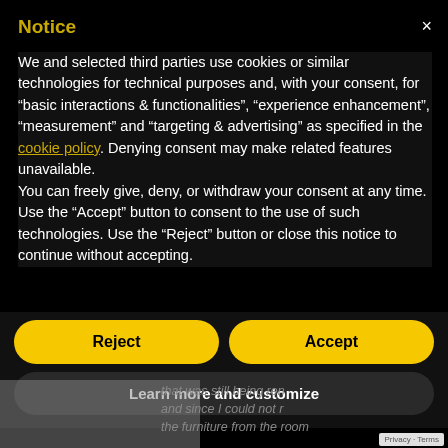Notice
We and selected third parties use cookies or similar technologies for technical purposes and, with your consent, for “basic interactions & functionalities”, “experience enhancement”, “measurement” and “targeting & advertising” as specified in the cookie policy. Denying consent may make related features unavailable.
You can freely give, deny, or withdraw your consent at any time.
Use the “Accept” button to consent to the use of such technologies. Use the “Reject” button or close this notice to continue without accepting.
Reject
Accept
Learn more and customize
that was still being ren and since I could not r the furniture from the room